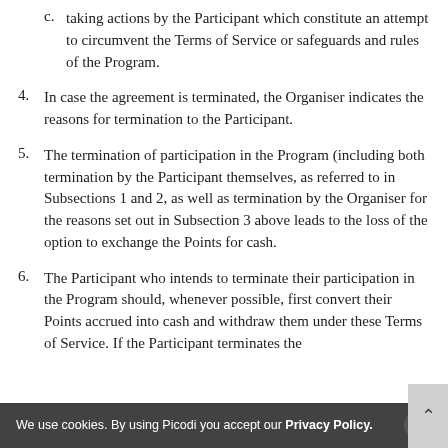c. taking actions by the Participant which constitute an attempt to circumvent the Terms of Service or safeguards and rules of the Program.
4. In case the agreement is terminated, the Organiser indicates the reasons for termination to the Participant.
5. The termination of participation in the Program (including both termination by the Participant themselves, as referred to in Subsections 1 and 2, as well as termination by the Organiser for the reasons set out in Subsection 3 above leads to the loss of the option to exchange the Points for cash.
6. The Participant who intends to terminate their participation in the Program should, whenever possible, first convert their Points accrued into cash and withdraw them under these Terms of Service. If the Participant terminates the
We use cookies. By using Picodi you accept our Privacy Policy.